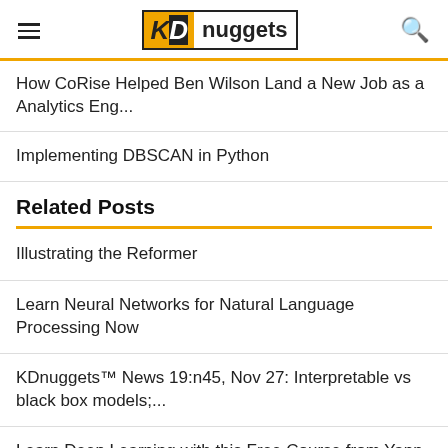KDnuggets
How CoRise Helped Ben Wilson Land a New Job as a Analytics Eng...
Implementing DBSCAN in Python
Related Posts
Illustrating the Reformer
Learn Neural Networks for Natural Language Processing Now
KDnuggets™ News 19:n45, Nov 27: Interpretable vs black box models;...
Learn Deep Learning with this Free Course from Yann